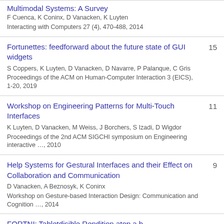Multimodal Systems: A Survey
F Cuenca, K Coninx, D Vanacken, K Luyten
Interacting with Computers 27 (4), 470-488, 2014
Fortunettes: feedforward about the future state of GUI widgets
S Coppers, K Luyten, D Vanacken, D Navarre, P Palanque, C Gris
Proceedings of the ACM on Human-Computer Interaction 3 (EICS), 1-20, 2019
15
Workshop on Engineering Patterns for Multi-Touch Interfaces
K Luyten, D Vanacken, M Weiss, J Borchers, S Izadi, D Wigdor
Proceedings of the 2nd ACM SIGCHI symposium on Engineering interactive …, 2010
11
Help Systems for Gestural Interfaces and their Effect on Collaboration and Communication
D Vanacken, A Beznosyk, K Coninx
Workshop on Gesture-based Interaction Design: Communication and Cognition …, 2014
9
FORTNI: Tabletdisible Rendition atop a border...